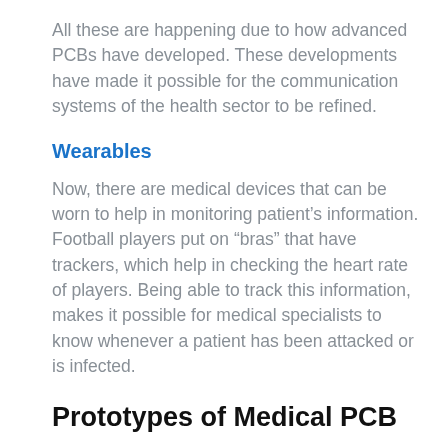All these are happening due to how advanced PCBs have developed. These developments have made it possible for the communication systems of the health sector to be refined.
Wearables
Now, there are medical devices that can be worn to help in monitoring patient's information. Football players put on “bras” that have trackers, which help in checking the heart rate of players. Being able to track this information, makes it possible for medical specialists to know whenever a patient has been attacked or is infected.
Prototypes of Medical PCB